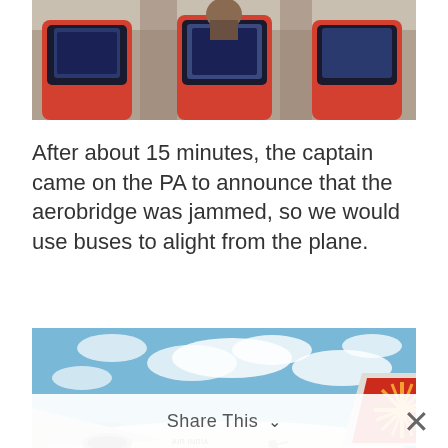[Figure (photo): Interior of an airplane cabin showing orange-accented seats with headrest screens, passengers visible in the background]
After about 15 minutes, the captain came on the PA to announce that the aerobridge was jammed, so we would use buses to alight from the plane.
[Figure (photo): Air India Boeing 787 Dreamliner on the tarmac under a blue sky with scattered clouds. The aircraft's red tail fin with the sun-wheel logo is prominently visible. Passengers are deplaning via air stairs.]
Share This